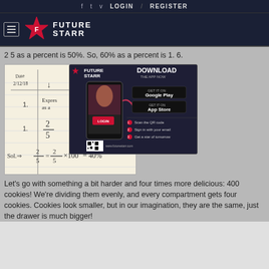f  t  v  LOGIN  /  REGISTER
[Figure (logo): Future Starr logo with star graphic and hamburger menu]
2 5 as a percent is 50%. So, 60% as a percent is 1. 6.
[Figure (photo): Handwritten math worksheet showing fraction 2/5 expressed as percent: 2/5 = 2/5 x 100 (20) = 40%, dated 2/12/18]
[Figure (infographic): Future Starr app download advertisement with phone mockup, Google Play and App Store buttons, QR code, and instructions: Scan the QR code, Sign in with your email, Get a star of tomorrow]
Let's go with something a bit harder and four times more delicious: 400 cookies! We're dividing them evenly, and every compartment gets four cookies. Cookies look smaller, but in our imagination, they are the same, just the drawer is much bigger!